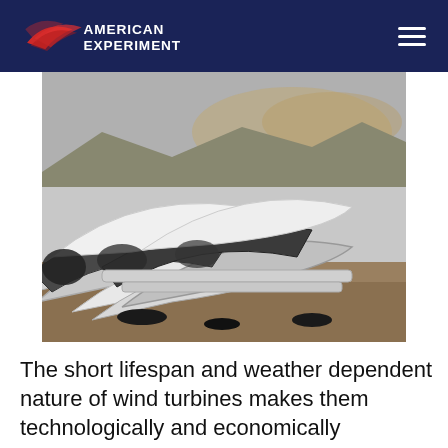American Experiment
[Figure (photo): Pile of discarded wind turbine blades on a dusty field with mountains in the background]
The short lifespan and weather dependent nature of wind turbines makes them technologically and economically unsustainable for producing reliable electricity. Personally, I don't